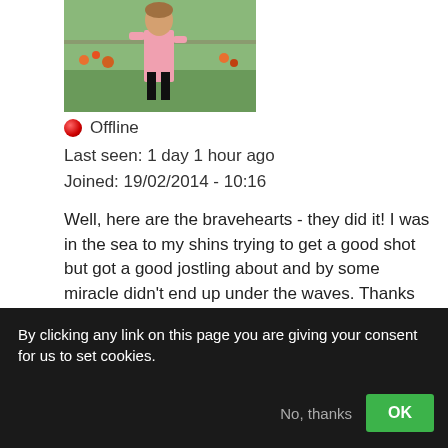[Figure (photo): Profile photo of a person standing outdoors in a garden, wearing pink top and black trousers]
🔴 Offline
Last seen: 1 day 1 hour ago
Joined: 19/02/2014 - 10:16
Well, here are the bravehearts - they did it!  I was in the sea to my shins trying to get a good shot but got a good jostling about and by some miracle didn't end up under the waves.  Thanks to a couple of my own plus a few from the boys' parents, here are some photos of the event.
[Figure (photo): Partial view of an event photo showing red fabric/banners and reflective metallic surface]
By clicking any link on this page you are giving your consent for us to set cookies.